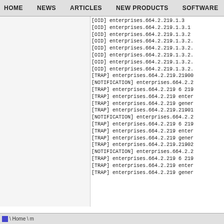HOME   NEWS   ARTICLES   NEW PRODUCTS   SOFTWARE
[OID] enterprises.664.2.219.1.3
[OID] enterprises.664.2.219.1.3.1
[OID] enterprises.664.2.219.1.3.2
[OID] enterprises.664.2.219.1.3.2.
[OID] enterprises.664.2.219.1.3.2.
[OID] enterprises.664.2.219.1.3.2.
[OID] enterprises.664.2.219.1.3.2.
[OID] enterprises.664.2.219.1.3.2.
[TRAP] enterprises.664.2.219.21900
[NOTIFICATION] enterprises.664.2.2
[TRAP] enterprises.664.2.219 6 219
[TRAP] enterprises.664.2.219 enter
[TRAP] enterprises.664.2.219 gener
[TRAP] enterprises.664.2.219.21901
[NOTIFICATION] enterprises.664.2.2
[TRAP] enterprises.664.2.219 6 219
[TRAP] enterprises.664.2.219 enter
[TRAP] enterprises.664.2.219 gener
[TRAP] enterprises.664.2.219.21902
[NOTIFICATION] enterprises.664.2.2
[TRAP] enterprises.664.2.219 6 219
[TRAP] enterprises.664.2.219 enter
[TRAP] enterprises.664.2.219 gener
\ Home \ m